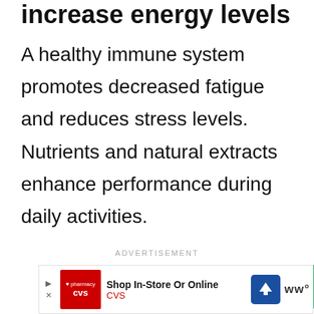increase energy levels
A healthy immune system promotes decreased fatigue and reduces stress levels. Nutrients and natural extracts enhance performance during daily activities.
ADVERTISEMENT
[Figure (other): Gray advertisement placeholder box with a green scroll-to-top button (caret/chevron up icon) in the top-right corner]
[Figure (other): CVS Pharmacy advertisement bar at bottom: CVS logo on red background with heart, text 'Shop In-Store Or Online' and 'CVS', blue map/direction icon, and WW logo on right]